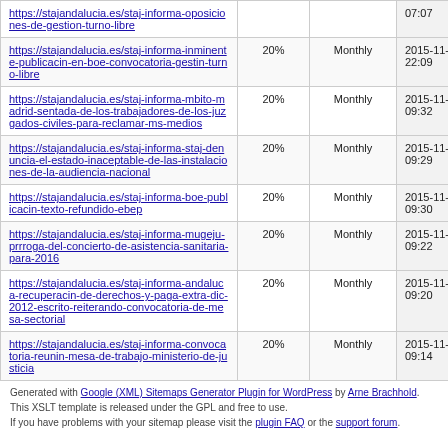| https://stajandalucia.es/staj-informa-oposiciones-de-gestion-turno-libre |  |  | 07:07 |
| https://stajandalucia.es/staj-informa-inminente-publicacin-en-boe-convocatoria-gestin-turno-libre | 20% | Monthly | 2015-11-02 22:09 |
| https://stajandalucia.es/staj-informa-mbito-madrid-sentada-de-los-trabajadores-de-los-juzgados-civiles-para-reclamar-ms-medios | 20% | Monthly | 2015-11-02 09:32 |
| https://stajandalucia.es/staj-informa-staj-denuncia-el-estado-inaceptable-de-las-instalaciones-de-la-audiencia-nacional | 20% | Monthly | 2015-11-02 09:29 |
| https://stajandalucia.es/staj-informa-boe-publicacin-texto-refundido-ebep | 20% | Monthly | 2015-11-02 09:30 |
| https://stajandalucia.es/staj-informa-mugeju-prrroga-del-concierto-de-asistencia-sanitaria-para-2016 | 20% | Monthly | 2015-11-02 09:22 |
| https://stajandalucia.es/staj-informa-andaluca-recuperacin-de-derechos-y-paga-extra-dic-2012-escrito-reiterando-convocatoria-de-mesa-sectorial | 20% | Monthly | 2015-11-02 09:20 |
| https://stajandalucia.es/staj-informa-convocatoria-reunin-mesa-de-trabajo-ministerio-de-justicia | 20% | Monthly | 2015-11-02 09:14 |
Generated with Google (XML) Sitemaps Generator Plugin for WordPress by Arne Brachhold. This XSLT template is released under the GPL and free to use.
If you have problems with your sitemap please visit the plugin FAQ or the support forum.